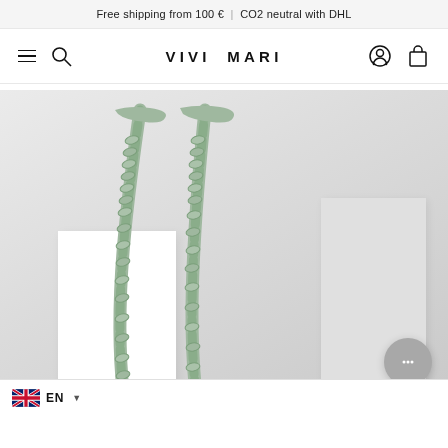Free shipping from 100 € | CO2 neutral with DHL
[Figure (logo): VIVI MARI brand navigation bar with hamburger menu, search, account, and bag icons]
[Figure (photo): Sage green chunky chain necklaces draped over white geometric cube props against a light grey background]